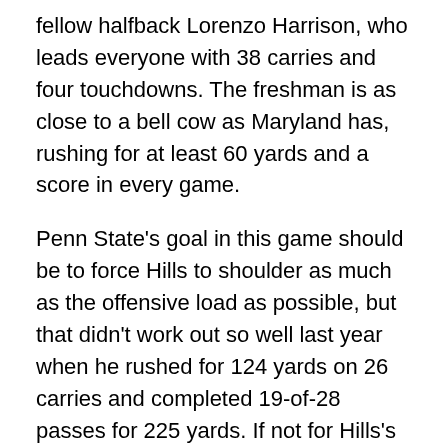fellow halfback Lorenzo Harrison, who leads everyone with 38 carries and four touchdowns. The freshman is as close to a bell cow as Maryland has, rushing for at least 60 yards and a score in every game.
Penn State's goal in this game should be to force Hills to shoulder as much as the offensive load as possible, but that didn't work out so well last year when he rushed for 124 yards on 26 carries and completed 19-of-28 passes for 225 yards. If not for Hills's three interceptions, the Terps may have waltzed out of Baltimore with their second straight win over Penn State. Those passing numbers are especially jarring since overall Hills completed just half of his passes in 2015. This year, he's looked much better with 45 completions on 73 throws with five touchdowns and just one interception, but a lot of that came in